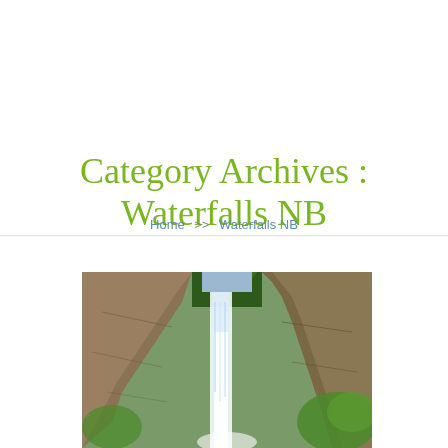Category Archives : Waterfalls NB
Home >> Waterfalls NB
[Figure (photo): A tall waterfall cascading down rocky cliffs surrounded by pine trees and green foliage]